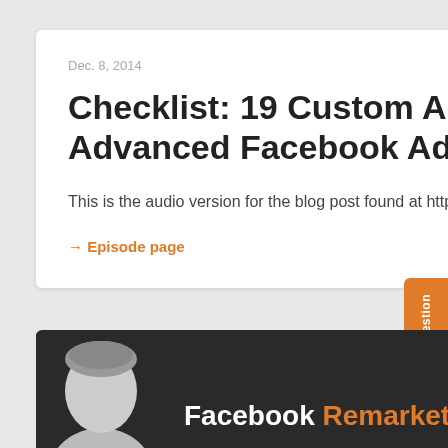Dec. 8, 2014
Checklist: 19 Custom Ad Report Tasks for Advanced Facebook Advertisers
This is the audio version for the blog post found at https://www.jonloomer.com/facebook-ad-reports-checklist/
→ Episode page
[Figure (photo): Person's head and shoulders in grayscale, partially visible at bottom of page]
Facebook Remarketing